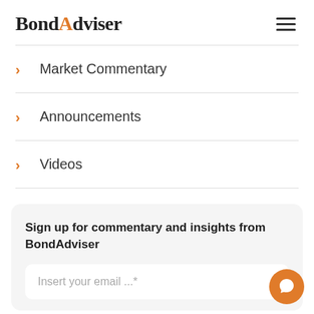BondAdviser
Market Commentary
Announcements
Videos
Sign up for commentary and insights from BondAdviser
Insert your email ...*